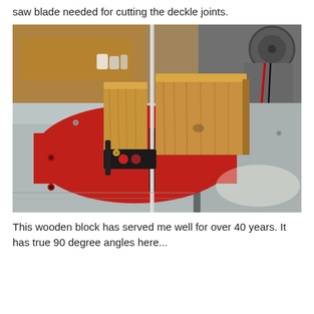saw blade needed for cutting the deckle joints.
[Figure (photo): A wooden block pressed against a bandsaw blade on a metal saw table with a red insert. The wooden block is a rectangular piece of light-colored hardwood. A black angle gauge/miter device is visible. Workshop background with wood panels and machinery visible.]
This wooden block has served me well for over 40 years. It has true 90 degree angles here...